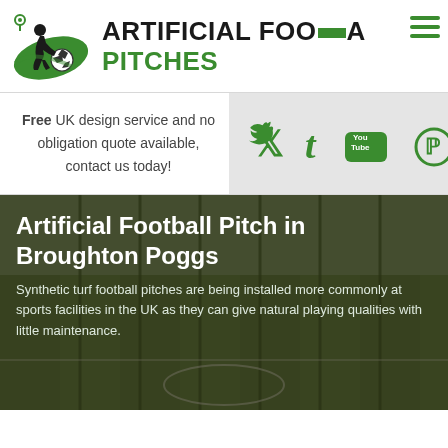[Figure (logo): Artificial Football Pitches logo with soccer player kicking ball and location pin icon]
ARTIFICIAL FOOTBALL PITCHES
Free UK design service and no obligation quote available, contact us today!
[Figure (infographic): Social media icons: Twitter, Tumblr, YouTube, Pinterest in green on grey background]
Artificial Football Pitch in Broughton Poggs
Synthetic turf football pitches are being installed more commonly at sports facilities in the UK as they can give natural playing qualities with little maintenance.